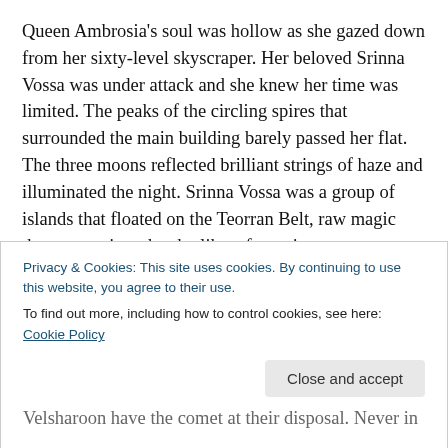Queen Ambrosia's soul was hollow as she gazed down from her sixty-level skyscraper. Her beloved Srinna Vossa was under attack and she knew her time was limited. The peaks of the circling spires that surrounded the main building barely passed her flat. The three moons reflected brilliant strings of haze and illuminated the night. Srinna Vossa was a group of islands that floated on the Teorran Belt, raw magic that sprung into the sky like a fountain.
“Our magic defenses are about to give way. If the Velsharoon get in, it will be all over.” Aarin said, his
Privacy & Cookies: This site uses cookies. By continuing to use this website, you agree to their use.
To find out more, including how to control cookies, see here: Cookie Policy
Velsharoon have the comet at their disposal. Never in